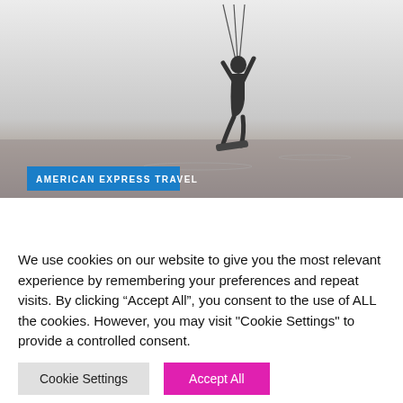[Figure (photo): Black and white photo of a kitesurfer or wakeboarder airborne above water, holding ropes, against a light sky. Blue label overlay reads 'AMERICAN EXPRESS TRAVEL'.]
Best Credit Cards for Exclusive Events and
We use cookies on our website to give you the most relevant experience by remembering your preferences and repeat visits. By clicking “Accept All”, you consent to the use of ALL the cookies. However, you may visit "Cookie Settings" to provide a controlled consent.
Cookie Settings | Accept All